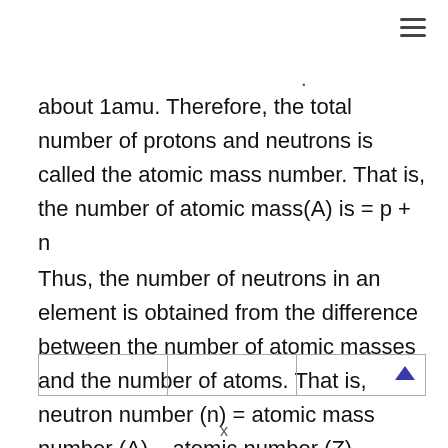about 1amu. Therefore, the total number of protons and neutrons is called the atomic mass number. That is, the number of atomic mass(A) is = p + n
Thus, the number of neutrons in an element is obtained from the difference between the number of atomic masses and the number of atoms. That is, neutron number (n) = atomic mass number (A) – atomic number (Z)